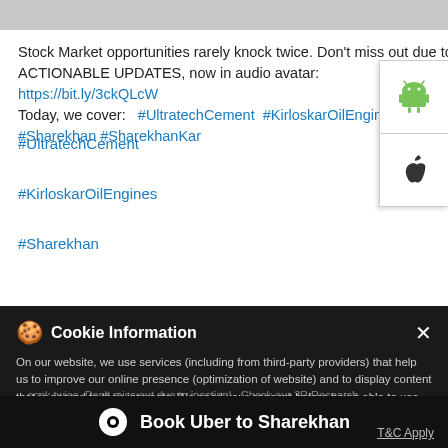Stock Market opportunities rarely knock twice. Don't miss out due to inaction!   Check our 3R Research ACTIONABLE UPDATES, now in audio avatar:
https://bit.ly/3ckQLcW
Today, we cover:   #UltratechCement  #KirloskarOilEngines  #Sharekhan #SharekhanKar
#UltratechCement
#KirloskarOilEngines
#Sharekhan
[Figure (screenshot): Android and iOS app download button icons on white panel at right side]
This location is closed. Please visit Nearby Locations
🍪 Cookie Information
On our website, we use services (including from third-party providers) that help us to improve our online presence (optimization of website) and to display content that is geared to their interests. We need your consent before being able to use these services.
Stock Market opportunities rarely knock twice. Don't miss out due to inaction!   Check our 3R Research ACTIONABLE...
https://t.co/GAYimEzjL4
Book Uber to Sharekhan
T&C Apply